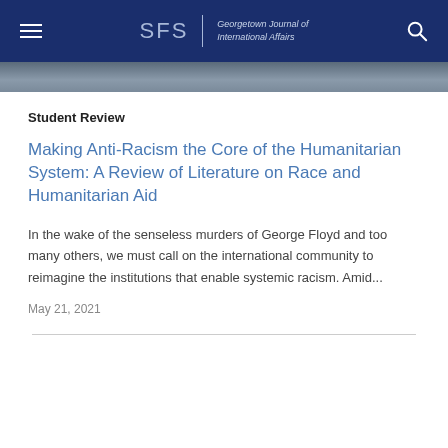SFS | Georgetown Journal of International Affairs
[Figure (photo): Partial photo strip showing people in a crowd, cropped at top of content area]
Student Review
Making Anti-Racism the Core of the Humanitarian System: A Review of Literature on Race and Humanitarian Aid
In the wake of the senseless murders of George Floyd and too many others, we must call on the international community to reimagine the institutions that enable systemic racism. Amid...
May 21, 2021